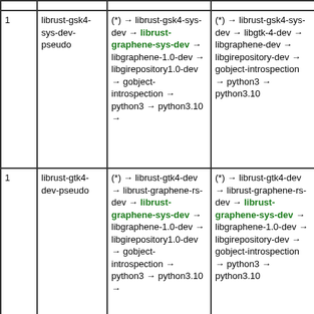|  |  |  |  |
| --- | --- | --- | --- |
| 1 | librust-gsk4-sys-dev-pseudo | (*) → librust-gsk4-sys-dev → librust-graphene-sys-dev → libgraphene-1.0-dev → libgirepository1.0-dev → gobject-introspection → python3 → python3.10 → | (*) → librust-gsk4-sys-dev → libgtk-4-dev → libgraphene-dev → libgirepository-dev → gobject-introspection → python3 → python3.10 |
| 1 | librust-gtk4-dev-pseudo | (*) → librust-gtk4-dev → librust-graphene-rs-dev → librust-graphene-sys-dev → libgraphene-1.0-dev → libgirepository1.0-dev → gobject-introspection → python3 → python3.10 → | (*) → librust-gtk4-dev → librust-graphene-rs-dev → librust-graphene-sys-dev → libgraphene-1.0-dev → libgirepository-dev → gobject-introspection → python3 → python3.10 |
|  |  | (*) → librust- | (*) → libr |